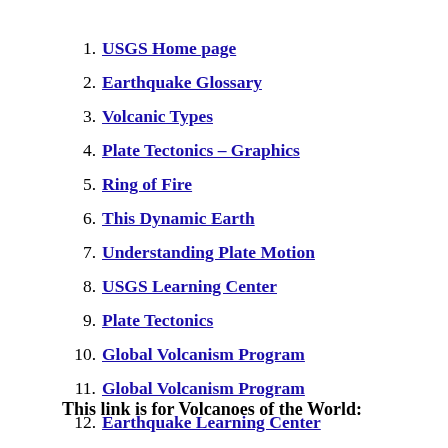1. USGS Home page
2. Earthquake Glossary
3. Volcanic Types
4. Plate Tectonics – Graphics
5. Ring of Fire
6. This Dynamic Earth
7. Understanding Plate Motion
8. USGS Learning Center
9. Plate Tectonics
10. Global Volcanism Program
11. Global Volcanism Program
12. Earthquake Learning Center
This link is for Volcanoes of the World: